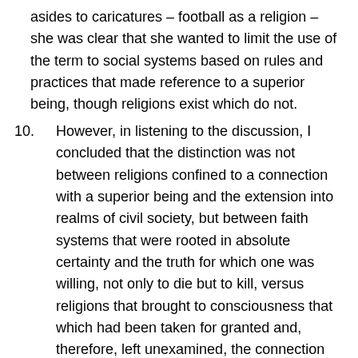asides to caricatures – football as a religion – she was clear that she wanted to limit the use of the term to social systems based on rules and practices that made reference to a superior being, though religions exist which do not.
10. However, in listening to the discussion, I concluded that the distinction was not between religions confined to a connection with a superior being and the extension into realms of civil society, but between faith systems that were rooted in absolute certainty and the truth for which one was willing, not only to die but to kill, versus religions that brought to consciousness that which had been taken for granted and, therefore, left unexamined, the connection between absolutist beliefs and violence.
The core characteristic of traditional religion may be that it is not a bios risk not bios. Therefore a model b...